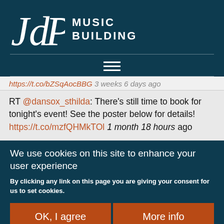[Figure (logo): JdP Music Building logo with stylized JdP lettering and text MUSIC BUILDING on dark teal background]
https://t.co/bZSqAocBBG 3 weeks 6 days ago
RT @dansox_sthilda: There's still time to book for tonight's event! See the poster below for details! https://t.co/mzfQHMkTOl 1 month 18 hours ago
We use cookies on this site to enhance your user experience
By clicking any link on this page you are giving your consent for us to set cookies.
OK, I agree
More info